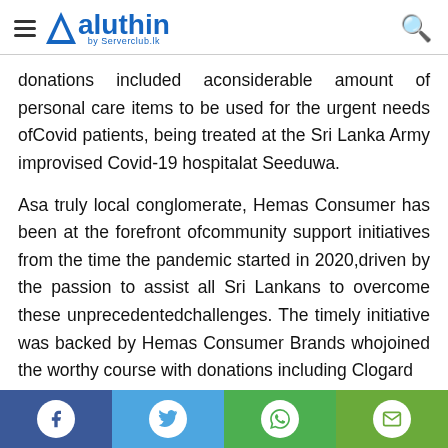Aluthin by Serverclub.lk
donations included aconsiderable amount of personal care items to be used for the urgent needs ofCovid patients, being treated at the Sri Lanka Army improvised Covid-19 hospitalat Seeduwa.
Asa truly local conglomerate, Hemas Consumer has been at the forefront ofcommunity support initiatives from the time the pandemic started in 2020,driven by the passion to assist all Sri Lankans to overcome these unprecedentedchallenges. The timely initiative was backed by Hemas Consumer Brands whojoined the worthy course with donations including Clogard
[Figure (infographic): Social media share bar with Facebook, Twitter, WhatsApp, and Email icons at the bottom of the page]